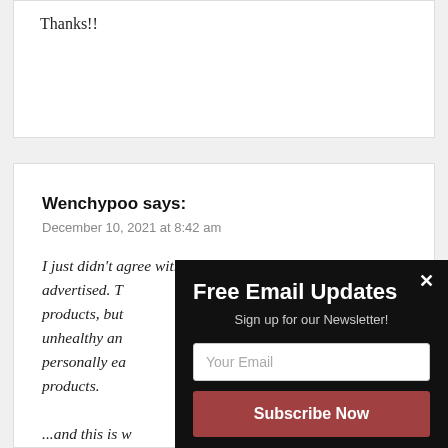Thanks!!
Wenchypoo says:
December 10, 2021 at 8:42 am
I just didn't agree with some of the products advertised. T... products, but... unhealthy an... personally ea... products.
...and this is w... l...d l... If i...
Free Email Updates
Sign up for our Newsletter!
Your Email
Subscribe Now